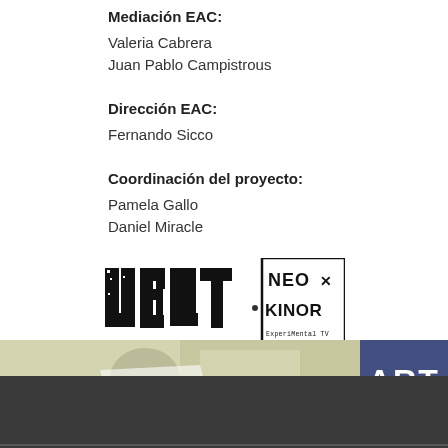Mediación EAC:
Valeria Cabrera
Juan Pablo Campistrous
Dirección EAC:
Fernando Sicco
Coordinación del proyecto:
Pamela Gallo
Daniel Miracle
[Figure (logo): Two logos side by side: UBUT TV (distressed block letters) and NEO KINOR ExperiMental TV (bold graphic logo in a box)]
[Figure (photo): Partial photo strip showing what appears to be a microphone or recording equipment, and text 'ART' visible on right side, overlaid with dark bar at bottom]